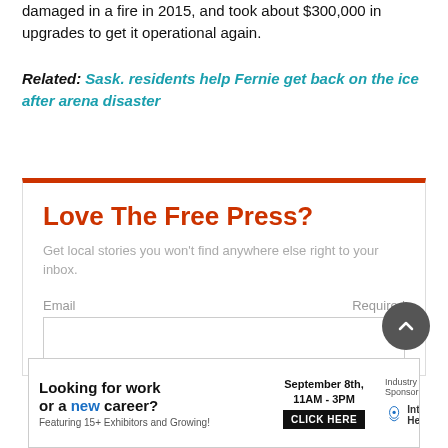damaged in a fire in 2015, and took about $300,000 in upgrades to get it operational again.
Related: Sask. residents help Fernie get back on the ice after arena disaster
[Figure (other): Newsletter signup box for The Free Press with title 'Love The Free Press?', description text, and email input field with Required label]
[Figure (other): Advertisement banner: 'Looking for work or a new career? Featuring 15+ Exhibitors and Growing!' September 8th, 11AM-3PM, CLICK HERE. Industry Sponsor: Interior Health]